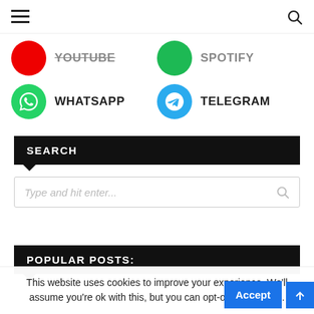Navigation bar with hamburger menu and search icon
[Figure (logo): Partial social sharing icons row — YouTube (red circle, cut off) and another icon (green circle, cut off) with labels partially visible]
WHATSAPP
TELEGRAM
SEARCH
Type and hit enter...
POPULAR POSTS:
This website uses cookies to improve your experience. We'll assume you're ok with this, but you can opt-out if you wish.